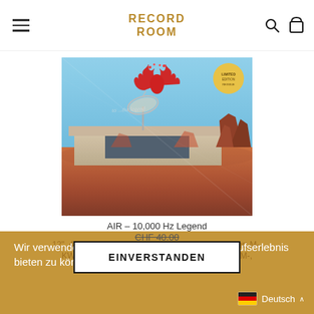RECORD ROOM
[Figure (photo): Vinyl record album cover for AIR - 10,000 Hz Legend, showing a modernist building with satellite dish on a desert mesa landscape with red rock formations, red flame logo at top center, gold circular sticker in top right corner]
AIR – 10,000 Hz Legend
CHF 40.00
12", 40.00, 80's / 90's / 00's, Cover: M minus, Cover: M-, KW19, LP: EX plus, LP: EX+, LP: M minus, LP: M-,
Wir verwenden Cookies, um dir das beste Einkaufserlebnis bieten zu können.
EINVERSTANDEN
Deutsch